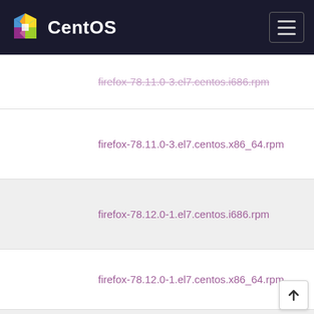CentOS
firefox-78.11.0-3.el7.centos.i686.rpm
firefox-78.11.0-3.el7.centos.x86_64.rpm
firefox-78.12.0-1.el7.centos.i686.rpm
firefox-78.12.0-1.el7.centos.x86_64.rpm
firefox-78.13.0-2.el7.centos.i686.rpm